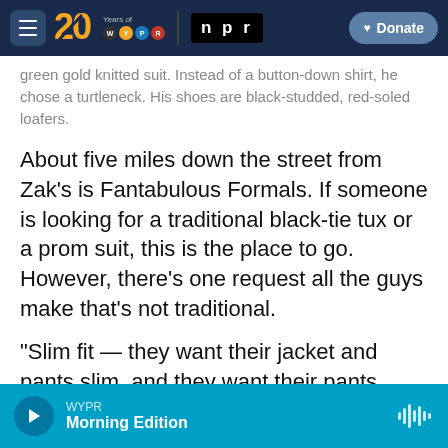20 Years of WYPR | npr | Donate
green gold knitted suit. Instead of a button-down shirt, he chose a turtleneck. His shoes are black-studded, red-soled loafers.
About five miles down the street from Zak's is Fantabulous Formals. If someone is looking for a traditional black-tie tux or a prom suit, this is the place to go. However, there's one request all the guys make that's not traditional.
"Slim fit — they want their jacket and pants slim, and they want their pants ankle length or higher," says Mary Jo Miller, a seamstress at Fantabulous Formals.
WYPR Morning Edition